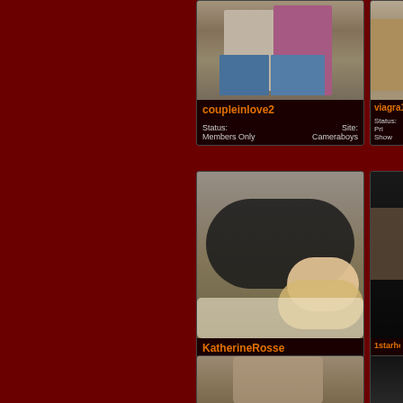[Figure (photo): Profile card for coupleinlove2 showing a couple squatting together]
coupleinlove2
Status: Members Only   Site: Cameraboys
[Figure (photo): Partial profile card for viagra12 showing a person seated]
viagra12
Status: Pri... Show
[Figure (photo): Profile card for KatherineRosse showing a blonde woman in black lying on a white rug]
KatherineRosse
Status: Private Show   Site: Cameraboys
[Figure (photo): Partial profile card for 1starhot showing a person]
1starhot
Status: Fre... Chat
[Figure (photo): Bottom profile card showing a blonde woman lying down]
[Figure (photo): Bottom right partial profile card]